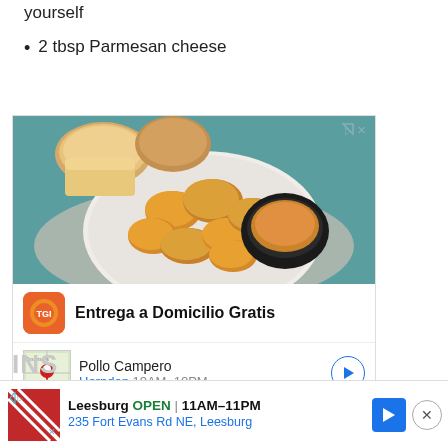yourself
2 tbsp Parmesan cheese
[Figure (photo): Advertisement image showing fried chicken nuggets on a white plate with dipping sauce, and bread rolls in the background on a teal table. Below the image: TGI Fridays logo with text 'Entrega a Domicilio Gratis', map thumbnail, 'Pollo Campero' store name, 'Herndon 10AM-10PM']
[Figure (photo): Bottom banner advertisement: TGI Fridays logo, 'Leesburg OPEN 11AM-11PM', '235 Fort Evans Rd NE, Leesburg', navigation arrow button, close button]